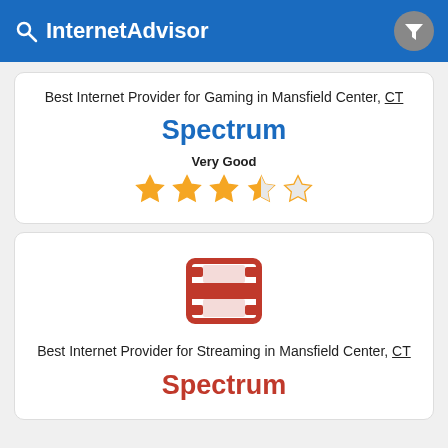InternetAdvisor
Best Internet Provider for Gaming in Mansfield Center, CT
Spectrum
Very Good
[Figure (illustration): 4 stars out of 5 rating — 3 full yellow stars, 1 half star, 1 empty star]
[Figure (illustration): Red film reel / movie icon]
Best Internet Provider for Streaming in Mansfield Center, CT
Spectrum